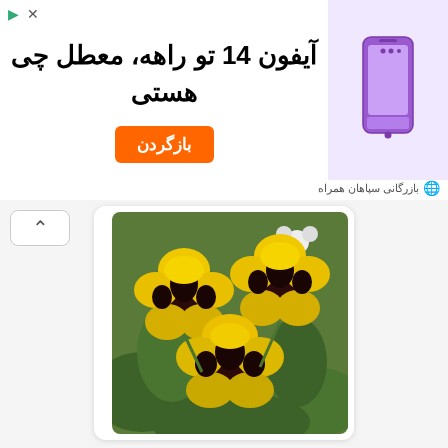[Figure (infographic): Advertisement banner for iPhone 14 in Persian with orange button and purple phone image]
آیفون 14 تو راهه، معطل چی هستی
بازگردن
بازرگانی سپاهان همراه
[Figure (photo): Yellow and dark purple pansy flowers (amor-perfeito) close-up photograph]
o amor-perfeito
□□□□□
[Figure (photo): Partial view of green plant/tree with fruit, second vocabulary card image]